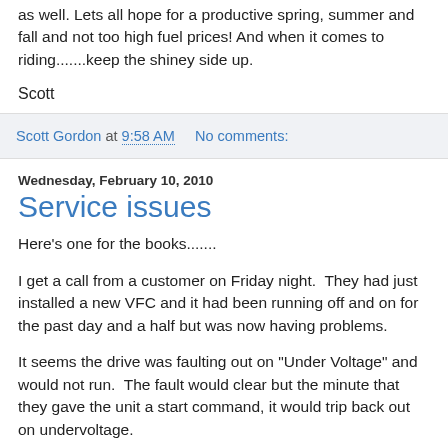as well. Lets all hope for a productive spring, summer and fall and not too high fuel prices!  And when it comes to riding.......keep the shiney side up.
Scott
Scott Gordon at 9:58 AM   No comments:
Wednesday, February 10, 2010
Service issues
Here's one for the books.......
I get a call from a customer on Friday night.  They had just installed a new VFC and it had been running off and on for the past day and a half but was now having problems.
It seems the drive was faulting out on "Under Voltage" and would not run.  The fault would clear but the minute that they gave the unit a start command, it would trip back out on undervoltage.